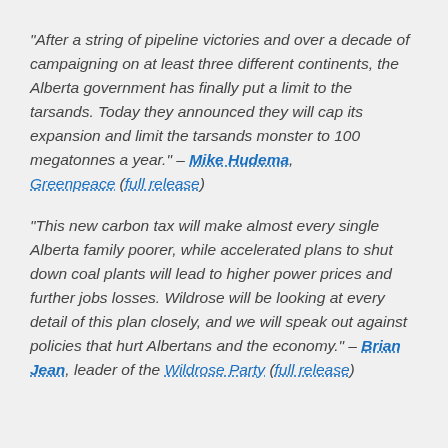"After a string of pipeline victories and over a decade of campaigning on at least three different continents, the Alberta government has finally put a limit to the tarsands. Today they announced they will cap its expansion and limit the tarsands monster to 100 megatonnes a year." – Mike Hudema, Greenpeace (full release)
"This new carbon tax will make almost every single Alberta family poorer, while accelerated plans to shut down coal plants will lead to higher power prices and further jobs losses. Wildrose will be looking at every detail of this plan closely, and we will speak out against policies that hurt Albertans and the economy." – Brian Jean, leader of the Wildrose Party (full release)